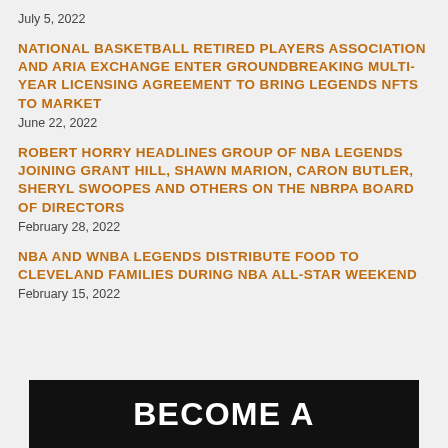July 5, 2022
NATIONAL BASKETBALL RETIRED PLAYERS ASSOCIATION AND ARIA EXCHANGE ENTER GROUNDBREAKING MULTI-YEAR LICENSING AGREEMENT TO BRING LEGENDS NFTS TO MARKET
June 22, 2022
ROBERT HORRY HEADLINES GROUP OF NBA LEGENDS JOINING GRANT HILL, SHAWN MARION, CARON BUTLER, SHERYL SWOOPES AND OTHERS ON THE NBRPA BOARD OF DIRECTORS
February 28, 2022
NBA AND WNBA LEGENDS DISTRIBUTE FOOD TO CLEVELAND FAMILIES DURING NBA ALL-STAR WEEKEND
February 15, 2022
[Figure (other): Black banner with large white bold text reading BECOME A]